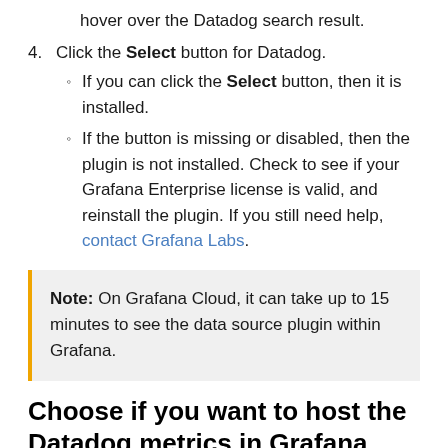hover over the Datadog search result.
4. Click the Select button for Datadog.
If you can click the Select button, then it is installed.
If the button is missing or disabled, then the plugin is not installed. Check to see if your Grafana Enterprise license is valid, and reinstall the plugin. If you still need help, contact Grafana Labs.
Note: On Grafana Cloud, it can take up to 15 minutes to see the data source plugin within Grafana.
Choose if you want to host the Datadog metrics in Grafana Cloud
The Datadog data source plugin can work by being